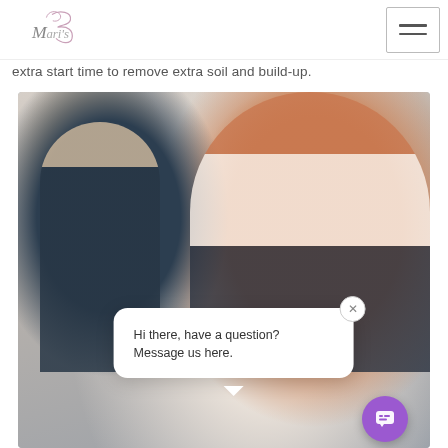Mari's [logo] [hamburger menu button]
extra start time to remove extra soil and build-up.
[Figure (photo): Two women in dark overalls cleaning; one blonde woman with her back turned holding a spray bottle on the left, and one red-haired woman smiling looking downward on the right, in a bright white room.]
Hi there, have a question? Message us here.